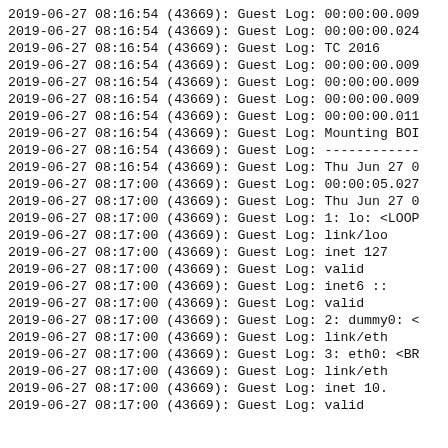2019-06-27 08:16:54 (43669): Guest Log: 00:00:00.009
2019-06-27 08:16:54 (43669): Guest Log: 00:00:00.024
2019-06-27 08:16:54 (43669): Guest Log: TC 2016
2019-06-27 08:16:54 (43669): Guest Log: 00:00:00.009
2019-06-27 08:16:54 (43669): Guest Log: 00:00:00.009
2019-06-27 08:16:54 (43669): Guest Log: 00:00:00.009
2019-06-27 08:16:54 (43669): Guest Log: 00:00:00.011
2019-06-27 08:16:54 (43669): Guest Log: Mounting BOI
2019-06-27 08:16:54 (43669): Guest Log: ------------
2019-06-27 08:16:54 (43669): Guest Log: Thu Jun 27 0
2019-06-27 08:17:00 (43669): Guest Log: 00:00:05.027
2019-06-27 08:17:00 (43669): Guest Log: Thu Jun 27 0
2019-06-27 08:17:00 (43669): Guest Log: 1: lo: <LOOP
2019-06-27 08:17:00 (43669): Guest Log:     link/loo
2019-06-27 08:17:00 (43669): Guest Log:     inet 127
2019-06-27 08:17:00 (43669): Guest Log:        valid
2019-06-27 08:17:00 (43669): Guest Log:     inet6 ::
2019-06-27 08:17:00 (43669): Guest Log:        valid
2019-06-27 08:17:00 (43669): Guest Log: 2: dummy0: <
2019-06-27 08:17:00 (43669): Guest Log:     link/eth
2019-06-27 08:17:00 (43669): Guest Log: 3: eth0: <BR
2019-06-27 08:17:00 (43669): Guest Log:     link/eth
2019-06-27 08:17:00 (43669): Guest Log:     inet 10.
2019-06-27 08:17:00 (43669): Guest Log:        valid